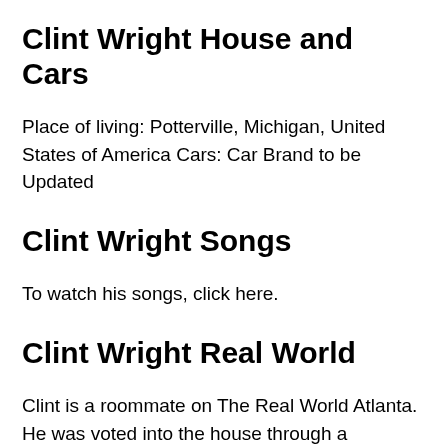Clint Wright House and Cars
Place of living: Potterville, Michigan, United States of America Cars: Car Brand to be Updated
Clint Wright Songs
To watch his songs, click here.
Clint Wright Real World
Clint is a roommate on The Real World Atlanta. He was voted into the house through a Facebook poll before filming started. He initially conflicts with